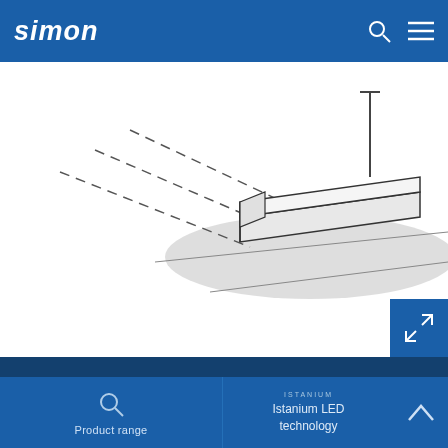simon
[Figure (engineering-diagram): Technical isometric diagram showing a flat rectangular LED luminaire/panel with dashed lines indicating light beam projection onto a surface below. The device appears as a thin rectangular box with a vertical mounting pole, and a grey elliptical illumination zone shown on the surface.]
[Figure (other): Expand/fullscreen button icon (diagonal arrows) on blue background]
Product range
ISTANIUM
Istanium LED technology